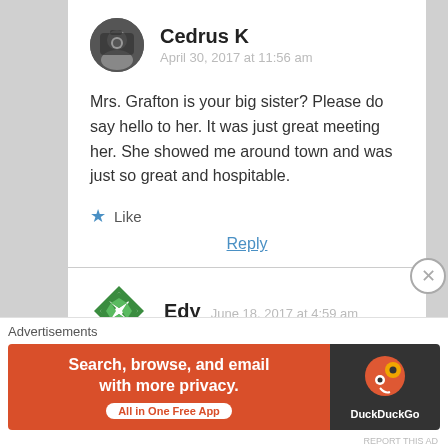[Figure (photo): User avatar photo of Cedrus K — person holding a camera, circular crop]
Cedrus K
April 30, 2017 at 11:56 am
Mrs. Grafton is your big sister? Please do say hello to her. It was just great meeting her. She showed me around town and was just so great and hospitable.
★ Like
Reply
[Figure (logo): Green diamond/quilt pattern avatar for user Edy]
Edy
June 18, 2017 at 4:59 am
Advertisements
[Figure (screenshot): DuckDuckGo advertisement banner: 'Search, browse, and email with more privacy. All in One Free App' with DuckDuckGo logo on dark right panel]